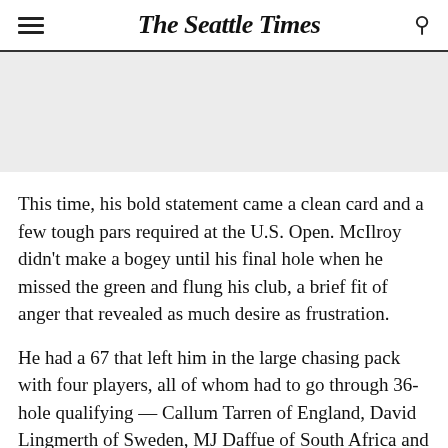The Seattle Times
[Figure (other): Gray advertisement placeholder banner]
This time, his bold statement came a clean card and a few tough pars required at the U.S. Open. McIlroy didn't make a bogey until his final hole when he missed the green and flung his club, a brief fit of anger that revealed as much desire as frustration.
He had a 67 that left him in the large chasing pack with four players, all of whom had to go through 36-hole qualifying — Callum Tarren of England, David Lingmerth of Sweden, MJ Daffue of South Africa and Joel Dahmen…